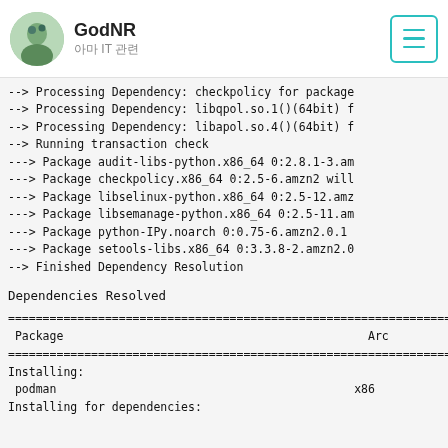GodNR
아마 IT 관련
--> Processing Dependency: checkpolicy for package
--> Processing Dependency: libqpol.so.1()(64bit) f
--> Processing Dependency: libapol.so.4()(64bit) f
--> Running transaction check
---> Package audit-libs-python.x86_64 0:2.8.1-3.am
---> Package checkpolicy.x86_64 0:2.5-6.amzn2 will
---> Package libselinux-python.x86_64 0:2.5-12.amz
---> Package libsemanage-python.x86_64 0:2.5-11.am
---> Package python-IPy.noarch 0:0.75-6.amzn2.0.1
---> Package setools-libs.x86_64 0:3.3.8-2.amzn2.0
--> Finished Dependency Resolution
Dependencies Resolved
================================================================
 Package                                                    Arc
================================================================
Installing:
 podman                                                     x86
Installing for dependencies: